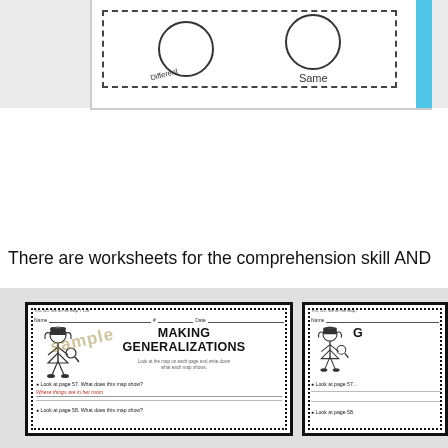[Figure (illustration): Top portion of a worksheet showing circles labeled 'Different' and 'Same' in a dashed Venn diagram style box, with a blue strip on the right edge.]
There are worksheets for the comprehension skill AND
[Figure (illustration): Two educational worksheet preview cards side by side. The left card shows 'MAKING GENERALIZATIONS' with a girl illustration and a sample watermark, questions about what maps show at pages 57 and 58, with a red answer 'Where things are in her room'. The right card shows a partially visible similar worksheet titled 'G...' with the same format.]